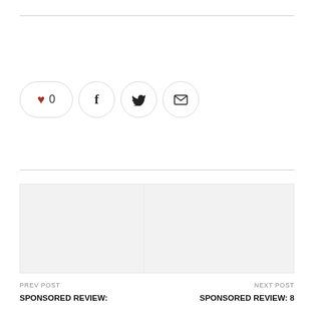[Figure (other): Social sharing bar with heart/like button showing count 0, Facebook share button, Twitter share button, and email share button]
PREV POST
[Figure (photo): Previous post thumbnail image placeholder (light gray)]
SPONSORED REVIEW:
NEXT POST
[Figure (photo): Next post thumbnail image placeholder (light gray)]
SPONSORED REVIEW: 8